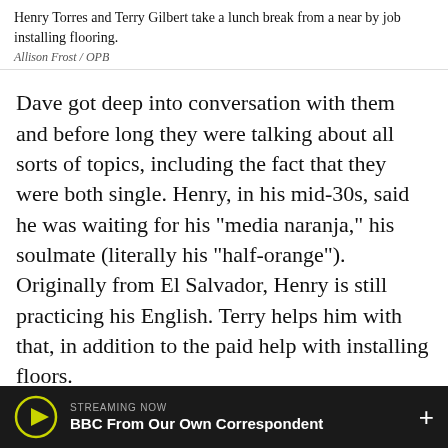Henry Torres and Terry Gilbert take a lunch break from a near by job installing flooring.
Allison Frost / OPB
Dave got deep into conversation with them and before long they were talking about all sorts of topics, including the fact that they were both single. Henry, in his mid-30s, said he was waiting for his "media naranja," his soulmate (literally his "half-orange"). Originally from El Salvador, Henry is still practicing his English. Terry helps him with that, in addition to the paid help with installing floors.
Terry is learning Spanish from Henry too and is also waiting for his "media naranja." In his early 20s, still in school, it's been still a number of times...
STREAMING NOW BBC From Our Own Correspondent